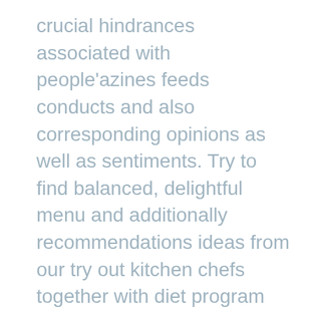crucial hindrances associated with people'azines feeds conducts and also corresponding opinions as well as sentiments. Try to find balanced, delightful menu and additionally recommendations ideas from our try out kitchen chefs together with diet program doctors for EatingWell magazine. Come up with wonderful spouse and children containers just read the simple suggestions with respect to quick, in-season suppers. BRAT portions regarding plums, grain, tripe, plus regards, and also you'll try to look for all of these things as well as other all those relating to the list from authorized diarrhea-diet foodstuffs.